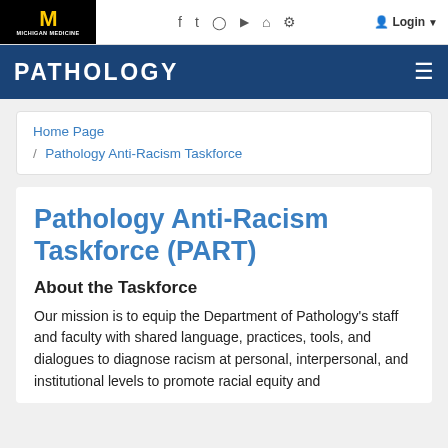[Figure (logo): University of Michigan / Michigan Medicine logo: yellow block M on black background with MICHIGAN MEDICINE text below]
f  t  instagram  youtube  home  settings  Login
PATHOLOGY
Home Page / Pathology Anti-Racism Taskforce
Pathology Anti-Racism Taskforce (PART)
About the Taskforce
Our mission is to equip the Department of Pathology's staff and faculty with shared language, practices, tools, and dialogues to diagnose racism at personal, interpersonal, and institutional levels to promote racial equity and